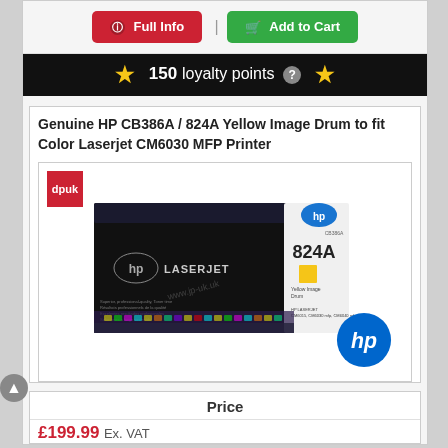[Figure (other): Full Info and Add to Cart buttons in a button bar]
150 loyalty points
Genuine HP CB386A / 824A Yellow Image Drum to fit Color Laserjet CM6030 MFP Printer
[Figure (photo): HP 824A Yellow Image Drum product box photo with HP logo watermark and dp-uk.com watermark. Also shows HP circle logo bottom right.]
Price
£199.99 Ex. VAT